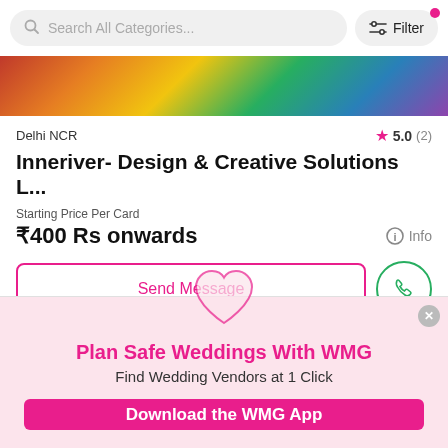[Figure (screenshot): Search bar at top with 'Search All Categories...' placeholder and a filter button with a pink dot indicator]
[Figure (photo): Colorful decorative image strip at top of listing card]
Delhi NCR
5.0 (2)
Inneriver- Design & Creative Solutions L...
Starting Price Per Card
₹400 Rs onwards
Info
Send Message
[Figure (infographic): WMG promotional banner with heart icon, pink background, title 'Plan Safe Weddings With WMG', subtitle 'Find Wedding Vendors at 1 Click', and a 'Download the WMG App' button]